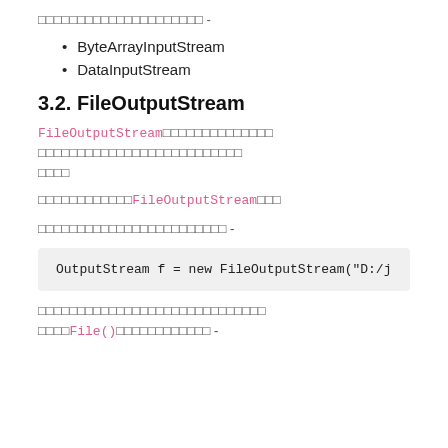□□□□□□□□□□□□□□□□□□□□□ -
ByteArrayInputStream
DataInputStream
3.2. FileOutputStream
FileOutputStream□□□□□□□□□□□□□□ □□□□□□□□□□□□□□□□□□□□□□□□□
□□□□□□□□□□□□FileOutputStream□□□
□□□□□□□□□□□□□□□□□□□□□□□□ -
OutputStream f = new FileOutputStream("D:/j
□□□□□□□□□□□□□□□□□□□□□□□□□□□□□ □□□□□File()□□□□□□□□□□□□ -